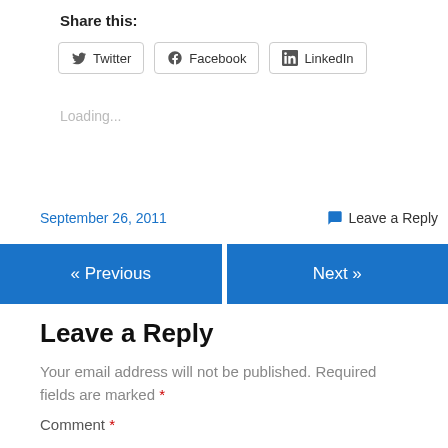Share this:
Twitter  Facebook  LinkedIn
Loading...
September 26, 2011
Leave a Reply
« Previous
Next »
Leave a Reply
Your email address will not be published. Required fields are marked *
Comment *